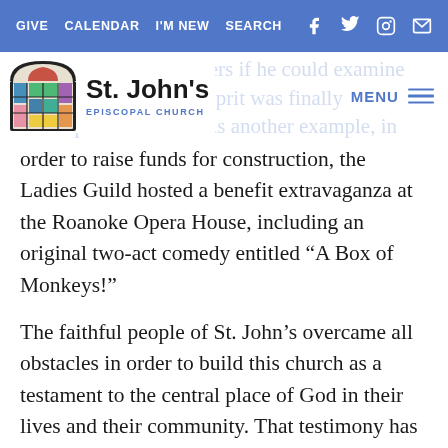GIVE  CALENDAR  I'M NEW  SEARCH
[Figure (logo): St. John's Episcopal Church logo with stained glass window icon]
king suspicious Roanokers if he could examine their new music. The culprit was finally identified and the problem fixed. As another example, in order to raise funds for construction, the Ladies Guild hosted a benefit extravaganza at the Roanoke Opera House, including an original two-act comedy entitled “A Box of Monkeys!”
The faithful people of St. John’s overcame all obstacles in order to build this church as a testament to the central place of God in their lives and their community. That testimony has continued throughout the years. Today, St. John’s